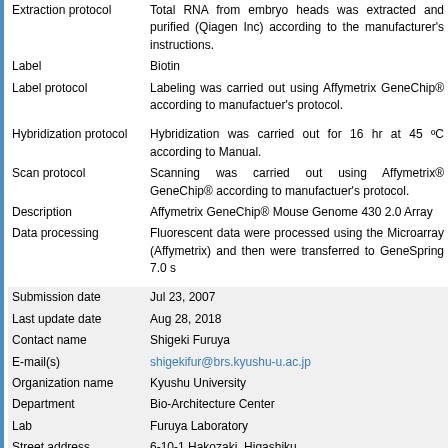| Field | Value |
| --- | --- |
| Extraction protocol | Total RNA from embryo heads was extracted and purified (Qiagen Inc) according to the manufacturer's instructions. |
| Label | Biotin |
| Label protocol | Labeling was carried out using Affymetrix GeneChip® according to manufactuer's protocol. |
| Hybridization protocol | Hybridization was carried out for 16 hr at 45 ºC according to Manual. |
| Scan protocol | Scanning was carried out using Affymetrix® GeneChip® according to manufactuer's protocol. |
| Description | Affymetrix GeneChip® Mouse Genome 430 2.0 Array |
| Data processing | Fluorescent data were processed using the Microarray (Affymetrix) and then were transferred to GeneSpring 7.0 s |
| Submission date | Jul 23, 2007 |
| Last update date | Aug 28, 2018 |
| Contact name | Shigeki Furuya |
| E-mail(s) | shigekifur@brs.kyushu-u.ac.jp |
| Organization name | Kyushu University |
| Department | Bio-Architecture Center |
| Lab | Furuya Laboratory |
| Street address | 6-10-1 Hakozaki, Higashiku |
| City | Fukuoka |
| State/province | Fukuoka |
| ZIP/Postal code | 812-8581 |
| Country | Japan |